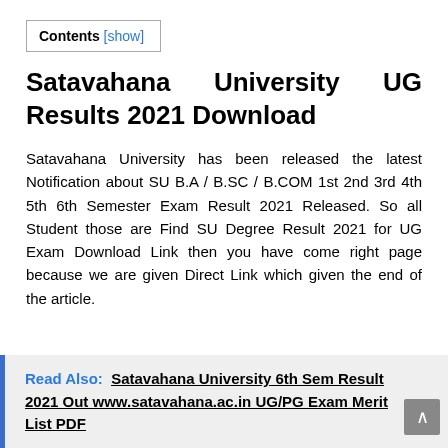Contents [show]
Satavahana University UG Results 2021 Download
Satavahana University has been released the latest Notification about SU B.A / B.SC / B.COM 1st 2nd 3rd 4th 5th 6th Semester Exam Result 2021 Released. So all Student those are Find SU Degree Result 2021 for UG Exam Download Link then you have come right page because we are given Direct Link which given the end of the article.
Read Also:  Satavahana University 6th Sem Result 2021 Out www.satavahana.ac.in UG/PG Exam Merit List PDF